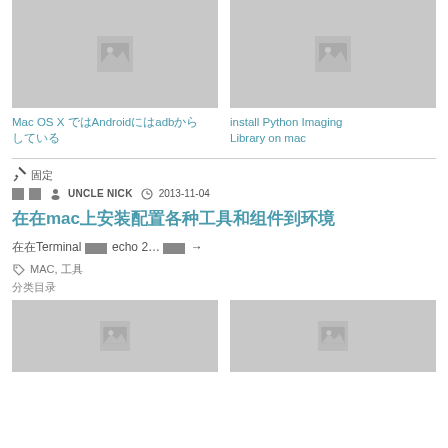[Figure (photo): Placeholder image thumbnail (grey) for Mac OS X Android adb article]
Mac OS X でAndroidにadb接続する方法
[Figure (photo): Placeholder image thumbnail (grey) for install Python Imaging Library on mac article]
install Python Imaging Library on mac
📌 固定
■■ 👤 UNCLE NICK 🕐 2013-11-04
在mac上安装配置各种工具和组件到環境
在Terminal 中 echo 2 ... 続き →
MAC, 工具
分类目录
[Figure (photo): Placeholder image thumbnail (grey) bottom left]
[Figure (photo): Placeholder image thumbnail (grey) bottom right]